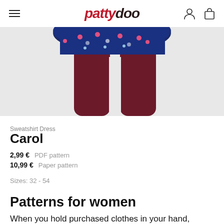pattydoo
[Figure (photo): Product photo showing lower half of a person wearing a navy floral sweatshirt dress and dark burgundy/maroon tights, on a light grey background.]
Sweatshirt Dress
Carol
2,99 €  PDF pattern
10,99 €  Paper pattern
Sizes: 32 - 54
Patterns for women
When you hold purchased clothes in your hand,